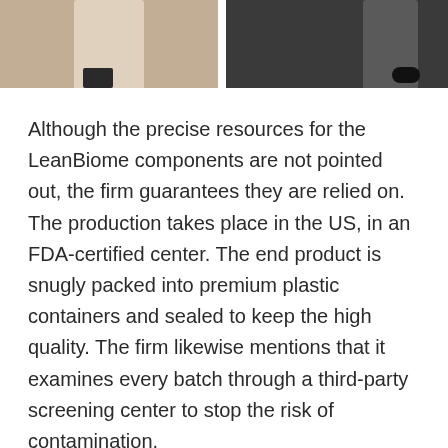[Figure (photo): Two side-by-side cropped photos showing lower body/legs, left photo on beige/tile floor background, right photo on dark grey background]
Although the precise resources for the LeanBiome components are not pointed out, the firm guarantees they are relied on. The production takes place in the US, in an FDA-certified center. The end product is snugly packed into premium plastic containers and sealed to keep the high quality. The firm likewise mentions that it examines every batch through a third-party screening center to stop the risk of contamination.
Greenselect Phytosome( GSP): this is a herbal extract made from environment-friendly tea yet with lowered caffeine degrees and also greater